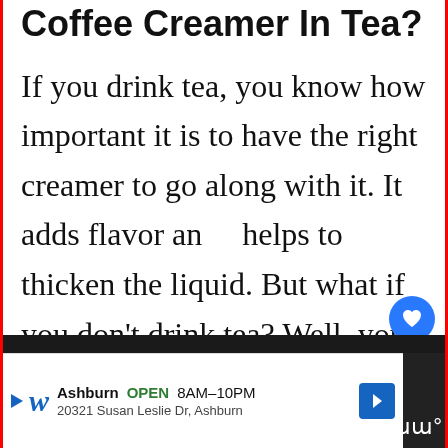Coffee Creamer In Tea?
If you drink tea, you know how important it is to have the right creamer to go along with it. It adds flavor and helps to thicken the liquid. But what if you don't drink tea? Well, you can still
[Figure (screenshot): Social media UI elements: heart/like button (blue circle) and share button (grey circle with share icon), plus a 'What's Next' content recommendation widget showing a thumbnail and text 'What happens if you eat...']
[Figure (screenshot): Advertisement banner for Walgreens: 'Ashburn OPEN 8AM-10PM, 20321 Susan Leslie Dr, Ashburn' with Walgreens logo and navigation arrow icon]